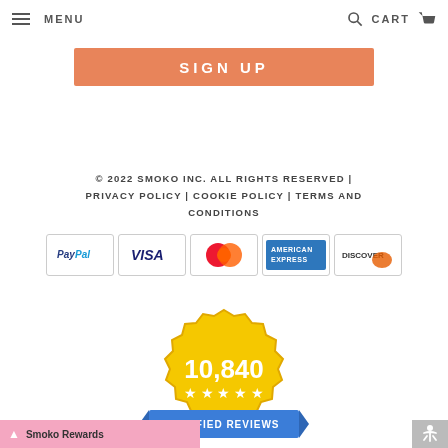MENU | CART
SIGN UP
© 2022 SMOKO INC. ALL RIGHTS RESERVED | PRIVACY POLICY | COOKIE POLICY | TERMS AND CONDITIONS
[Figure (other): Payment method icons: PayPal, Visa, Mastercard, American Express, Discover]
[Figure (infographic): Gold badge with 10,840 and five stars, blue ribbon banner reading VERIFIED REVIEWS]
Smoko Rewards